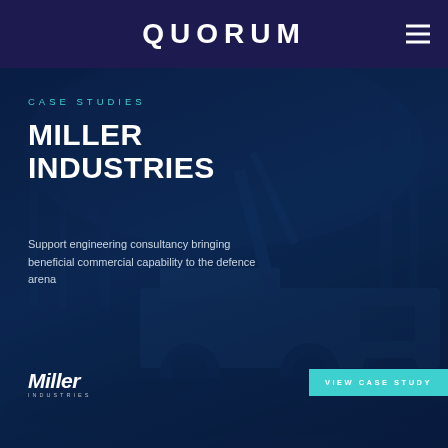QUORUM
[Figure (photo): Dark blue tinted photograph of a large military recovery/engineering truck with crane equipment, parked on a forest path at dusk or night. The image has a deep navy/teal color wash overlay.]
CASE STUDIES
MILLER INDUSTRIES
Support engineering consultancy bringing beneficial commercial capability to the defence arena
[Figure (logo): Miller Industries logo in white italic stylized lettering with 'INDUSTRIES' in small caps below]
VIEW CASE STUDY